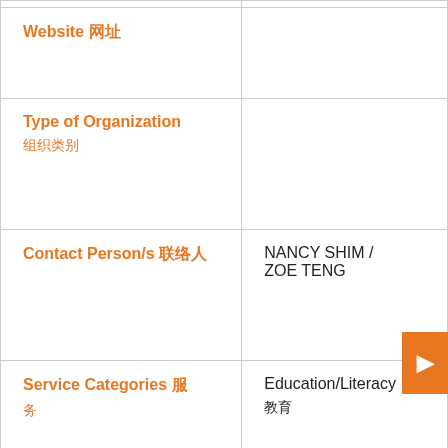| Field | Value |
| --- | --- |
| Website 网址 |  |
| Type of Organization 组织类别 |  |
| Contact Person/s 联络人 | NANCY SHIM / ZOE TENG |
| Service Categories 服务 类别 | Education/Literacy 教育 |
| Services Provided 提供的 服务 | TUITION (PRIMARY & SECONDARY), EXERCISE CLASSES, LINE |